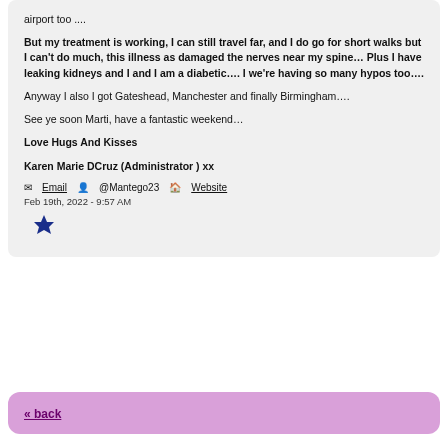airport too ....
But my treatment is working, I can still travel far, and I do go for short walks but I can't do much, this illness as damaged the nerves near my spine… Plus I have leaking kidneys and I and I am a diabetic…. I we're having so many hypos too….
Anyway I also I got Gateshead, Manchester and finally Birmingham….
See ye soon Marti, have a fantastic weekend…
Love Hugs And Kisses
Karen Marie DCruz (Administrator ) xx
Email  @Mantego23  Website
Feb 19th, 2022 - 9:57 AM
« back